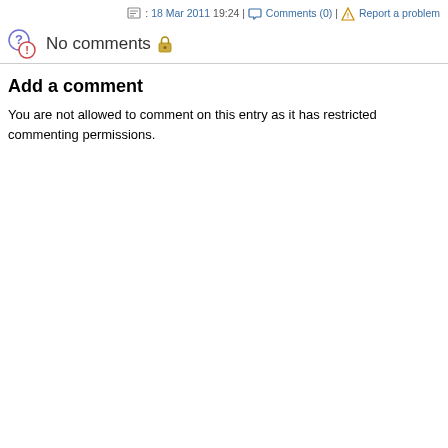: 18 Mar 2011 19:24 | Comments (0) | Report a problem
No comments 🔒
Add a comment
You are not allowed to comment on this entry as it has restricted commenting permissions.